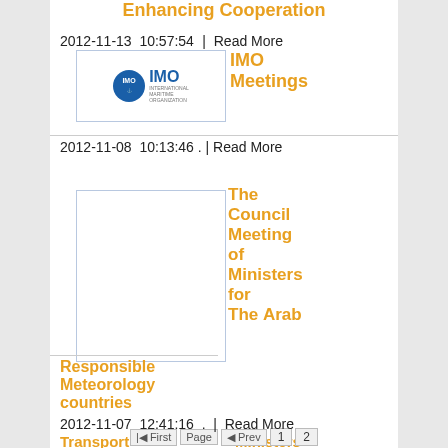Enhancing Cooperation
2012-11-13  10:57:54
| Read More
[Figure (logo): IMO International Maritime Organization logo]
IMO Meetings
2012-11-08  10:13:46 . | Read More
[Figure (photo): Blank image placeholder]
The Council Meeting of Ministers for The Arab
Responsible Meteorology countries
2012-11-07  12:41:16 . | Read More
Transport Council Meeting
Ministers' Meeting
First Page  Prev  1  2